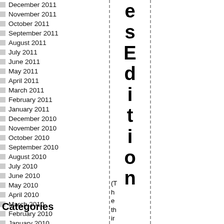December 2011
November 2011
October 2011
September 2011
August 2011
July 2011
June 2011
May 2011
April 2011
March 2011
February 2011
January 2011
December 2010
November 2010
October 2010
September 2010
August 2010
July 2010
June 2010
May 2010
April 2010
March 2010
February 2010
January 2010
January 2000
Categories
esEdition (The thir